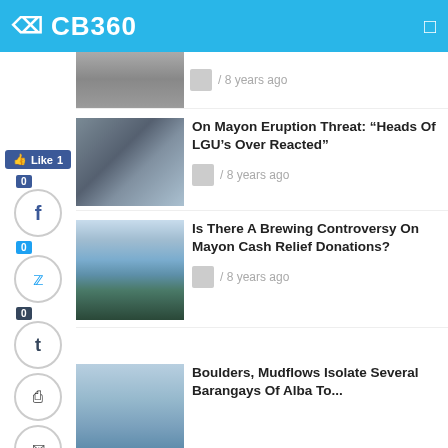CB360
[Figure (screenshot): Social media share buttons: Like 1 (Facebook), Twitter share count 0, Facebook circle icon with count 0, Twitter circle icon with count 0, Tumblr circle icon with count 0, Print icon, Email icon, 0 Shares, back arrow]
[Figure (photo): Partial photo of a person in a suit with tie]
[Figure (photo): Photo of crowd scene related to Mayon eruption story]
On Mayon Eruption Threat: “Heads Of LGU’s Over Reacted”
/ 8 years ago
[Figure (photo): Photo of Mayon volcano with mountain and sky]
Is There A Brewing Controversy On Mayon Cash Relief Donations?
/ 8 years ago
Boulders, Mudflows Isolate Several Barangays Of Alba To...